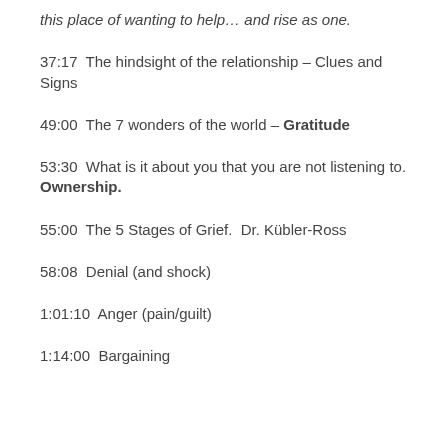this place of wanting to help… and rise as one.
37:17  The hindsight of the relationship – Clues and Signs
49:00  The 7 wonders of the world – Gratitude
53:30  What is it about you that you are not listening to. Ownership.
55:00  The 5 Stages of Grief.  Dr. Kübler-Ross
58:08  Denial (and shock)
1:01:10  Anger (pain/guilt)
1:14:00  Bargaining